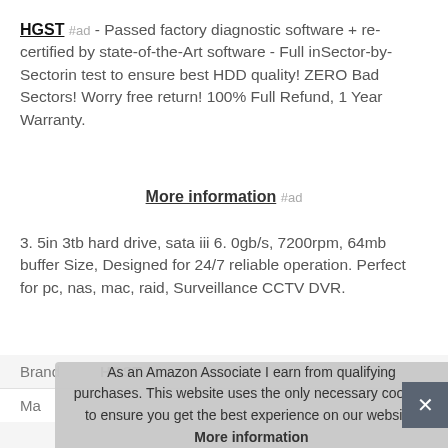HGST #ad - Passed factory diagnostic software + re-certified by state-of-the-Art software - Full inSector-by-Sectorin test to ensure best HDD quality! ZERO Bad Sectors! Worry free return! 100% Full Refund, 1 Year Warranty.
More information #ad
3. 5in 3tb hard drive, sata iii 6. 0gb/s, 7200rpm, 64mb buffer Size, Designed for 24/7 reliable operation. Perfect for pc, nas, mac, raid, Surveillance CCTV DVR.
| Brand |  |
| --- | --- |
| Brand | HGST #ad |
| Ma |  |
As an Amazon Associate I earn from qualifying purchases. This website uses the only necessary cookies to ensure you get the best experience on our website. More information